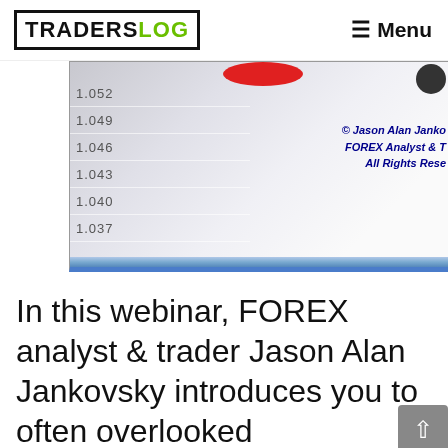TRADERSLOG  ≡ Menu
[Figure (screenshot): Screenshot of a FOREX trading chart with blue price levels on left, a red ellipse marker at top, dark circle top-right, copyright text reading '© Jason Alan Janko / FOREX Analyst & T / All Rights Rese' in dark blue italic, and a blue bar at the bottom.]
In this webinar, FOREX analyst & trader Jason Alan Jankovsky introduces you to often overlooked